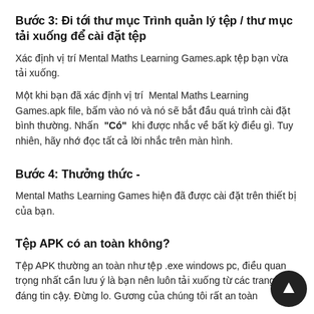Bước 3: Đi tới thư mục Trình quản lý tệp / thư mục tải xuống để cài đặt tệp
Xác định vị trí Mental Maths Learning Games.apk tệp bạn vừa tải xuống.
Một khi bạn đã xác định vị trí Mental Maths Learning Games.apk file, bấm vào nó và nó sẽ bắt đầu quá trình cài đặt bình thường. Nhấn "Có" khi được nhắc về bất kỳ điều gì. Tuy nhiên, hãy nhớ đọc tất cả lời nhắc trên màn hình.
Bước 4: Thưởng thức -
Mental Maths Learning Games hiện đã được cài đặt trên thiết bị của bạn.
Tệp APK có an toàn không?
Tệp APK thường an toàn như tệp .exe windows pc, điều quan trọng nhất cần lưu ý là bạn nên luôn tải xuống từ các trang web đáng tin cậy. Đừng lo. Gương của chúng tôi rất an toàn